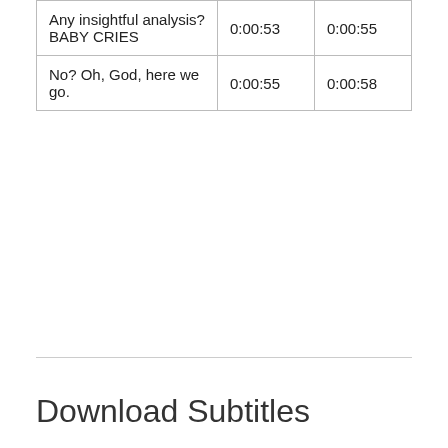| Any insightful analysis? BABY CRIES | 0:00:53 | 0:00:55 |
| No? Oh, God, here we go. | 0:00:55 | 0:00:58 |
Download Subtitles